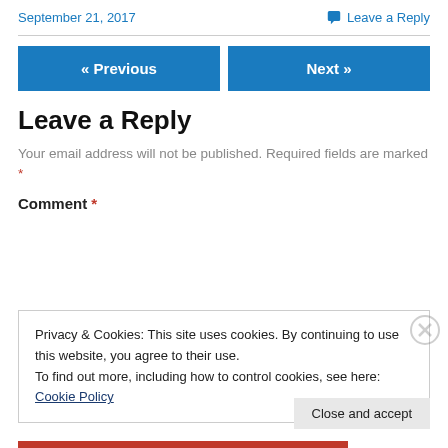September 21, 2017
Leave a Reply
« Previous
Next »
Leave a Reply
Your email address will not be published. Required fields are marked *
Comment *
Privacy & Cookies: This site uses cookies. By continuing to use this website, you agree to their use.
To find out more, including how to control cookies, see here: Cookie Policy
Close and accept